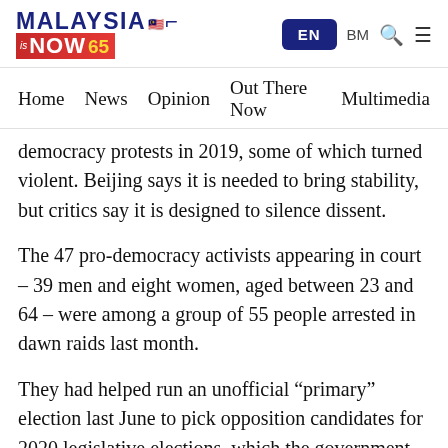[Figure (logo): MalaysiaNow logo with Malaysian flag emoji, red NOW65 bar, and navigation buttons EN, BM, search and hamburger icons]
Home   News   Opinion   Out There Now   Multimedia
democracy protests in 2019, some of which turned violent. Beijing says it is needed to bring stability, but critics say it is designed to silence dissent.
The 47 pro-democracy activists appearing in court – 39 men and eight women, aged between 23 and 64 – were among a group of 55 people arrested in dawn raids last month.
They had helped run an unofficial “primary” election last June to pick opposition candidates for 2020 legislative elections, which the government then postponed. Beijing